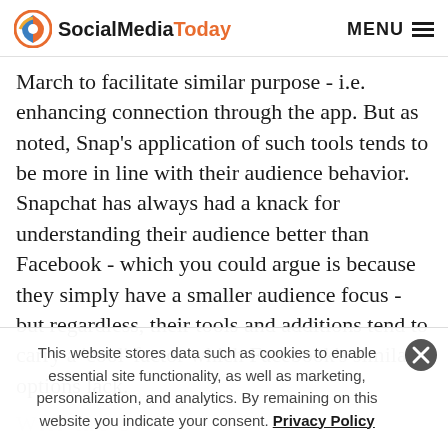SocialMediaToday MENU
March to facilitate similar purpose - i.e. enhancing connection through the app. But as noted, Snap's application of such tools tends to be more in line with their audience behavior. Snapchat has always had a knack for understanding their audience better than Facebook - which you could argue is because they simply have a smaller audience focus - but regardless, their tools and additions tend to carry a ‘cool’ factor which Facebook’s similar options lack.
This website stores data such as cookies to enable essential site functionality, as well as marketing, personalization, and analytics. By remaining on this website you indicate your consent. Privacy Policy